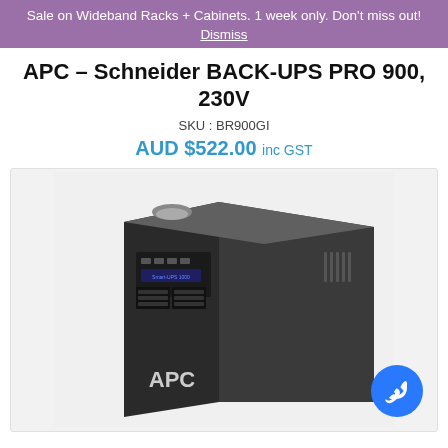Sale on Wideband Racks + Cabinets. 1 week only. Don't miss out!
Dismiss
APC – Schneider BACK-UPS PRO 900, 230V
SKU : BR900GI
AUD $522.00 inc GST
[Figure (photo): APC UPS unit (tower form factor, black, with front panel controls and APC logo at bottom), product photo on light background]